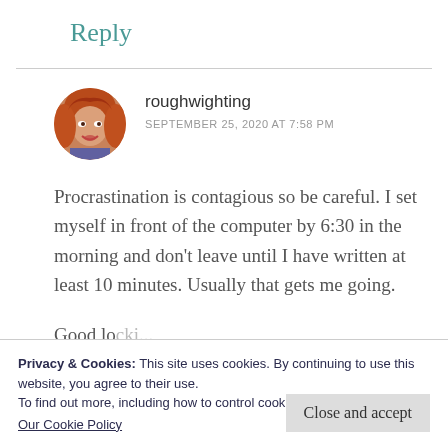Reply
[Figure (photo): Circular avatar photo of a woman with red/auburn hair]
roughwighting
SEPTEMBER 25, 2020 AT 7:58 PM
Procrastination is contagious so be careful. I set myself in front of the computer by 6:30 in the morning and don't leave until I have written at least 10 minutes. Usually that gets me going.
Privacy & Cookies: This site uses cookies. By continuing to use this website, you agree to their use.
To find out more, including how to control cookies, see here:
Our Cookie Policy
Close and accept